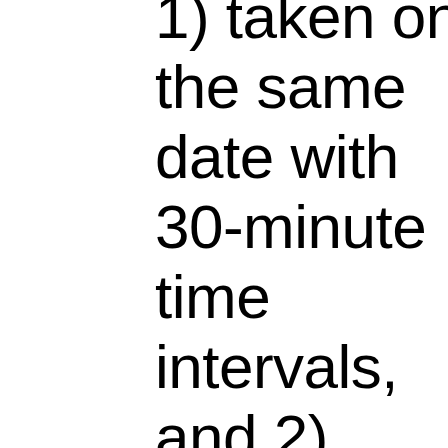1) taken on the same date with 30-minute time intervals, and 2) taken at the same hour and date for different